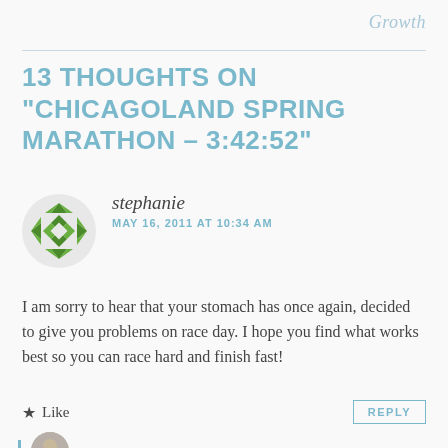Growth
13 THOUGHTS ON “CHICAGOLAND SPRING MARATHON – 3:42:52”
[Figure (illustration): Green geometric quilt-pattern avatar icon for commenter stephanie]
stephanie
MAY 16, 2011 AT 10:34 AM
I am sorry to hear that your stomach has once again, decided to give you problems on race day. I hope you find what works best so you can race hard and finish fast!
Like
REPLY